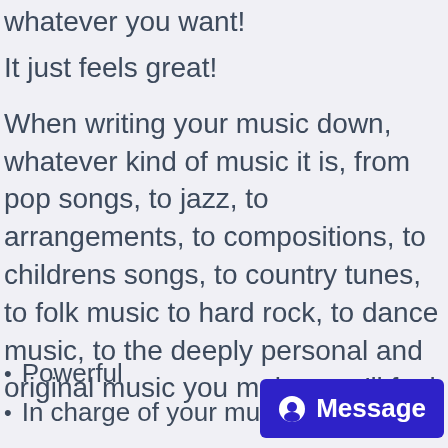whatever you want!
It just feels great!
When writing your music down, whatever kind of music it is, from pop songs, to jazz, to arrangements, to compositions, to childrens songs, to country tunes, to folk music to hard rock, to dance music, to the deeply personal and original music you make, you'll feel:
Powerful
In charge of your music